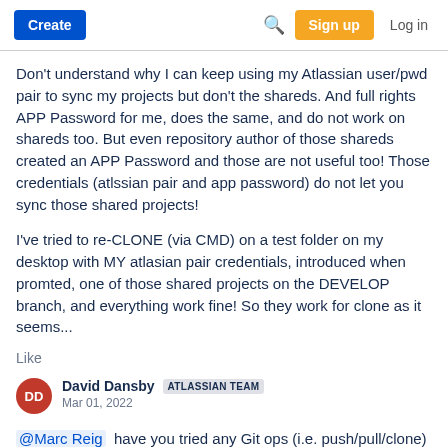Create | Search | Sign up | Log in
Don't understand why I can keep using my Atlassian user/pwd pair to sync my projects but don't the shareds. And full rights APP Password for me, does the same, and do not work on shareds too. But even repository author of those shareds created an APP Password and those are not useful too! Those credentials (atlssian pair and app password) do not let you sync those shared projects!
I've tried to re-CLONE (via CMD) on a test folder on my desktop with MY atlasian pair credentials, introduced when promted, one of those shared projects on the DEVELOP branch, and everything work fine! So they work for clone as it seems...
Like
David Dansby ATLASSIAN TEAM
Mar 01, 2022
@Marc Reig  have you tried any Git ops (i.e. push/pull/clone) without GitHub Desktop  (just using terminal instead) for those